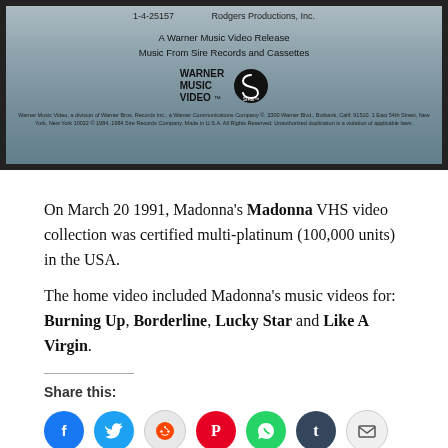[Figure (photo): VHS tape back cover showing Warner Music Video and Sire Records logos, with text '1-4-25157', 'Rodgers Productions, Inc.', 'A Warner Music Video Release', 'Music From Sire Records and Cassettes', and small print copyright information.]
On March 20 1991, Madonna's Madonna VHS video collection was certified multi-platinum (100,000 units) in the USA.
The home video included Madonna's music videos for: Burning Up, Borderline, Lucky Star and Like A Virgin.
Share this:
[Figure (infographic): Social share buttons: Facebook, Twitter, Reddit, Pinterest, WhatsApp, Tumblr, Email]